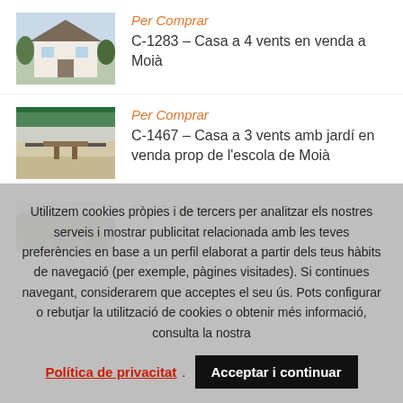[Figure (photo): Photo of a white two-story house with trees]
Per Comprar
C-1283 – Casa a 4 vents en venda a Moià
[Figure (photo): Photo of an outdoor terrace with chairs under awning]
Per Comprar
C-1467 – Casa a 3 vents amb jardí en venda prop de l'escola de Moià
[Figure (photo): Photo of a rural/natural landscape]
Per Comprar
Utilitzem cookies pròpies i de tercers per analitzar els nostres serveis i mostrar publicitat relacionada amb les teves preferències en base a un perfil elaborat a partir dels teus hàbits de navegació (per exemple, pàgines visitades). Si continues navegant, considerarem que acceptes el seu ús. Pots configurar o rebutjar la utilització de cookies o obtenir més informació, consulta la nostra
Política de privacitat. Acceptar i continuar